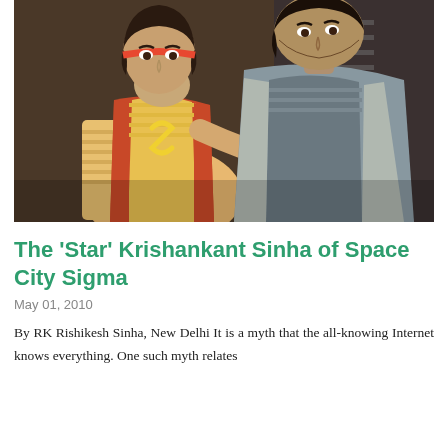[Figure (photo): Two actors in a science fiction setting. A woman in the foreground wearing a yellow striped outfit with a red vest and headband, leaning over something. A man in the background wearing a grey striped vest, leaning over her shoulder looking at something.]
The 'Star' Krishankant Sinha of Space City Sigma
May 01, 2010
By RK Rishikesh Sinha, New Delhi It is a myth that the all-knowing Internet knows everything. One such myth relates